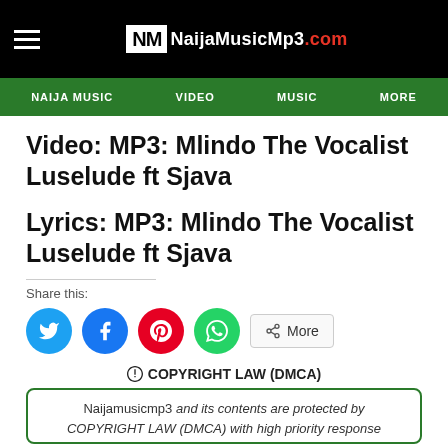NM NaijaMusicMp3.com
NAIJA MUSIC  VIDEO  MUSIC  MORE
Video: MP3: Mlindo The Vocalist Luselude ft Sjava
Lyrics: MP3: Mlindo The Vocalist Luselude ft Sjava
Share this:
COPYRIGHT LAW (DMCA)
Naijamusicmp3 and its contents are protected by COPYRIGHT LAW (DMCA) with high priority response